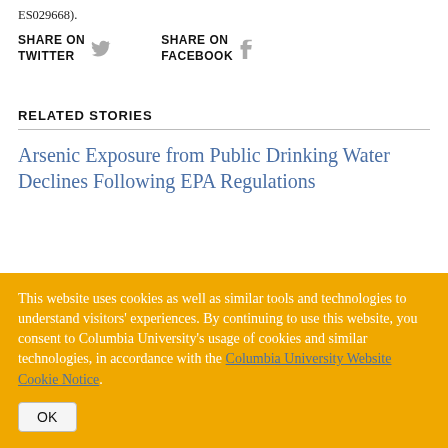ES029668).
SHARE ON TWITTER   SHARE ON FACEBOOK
RELATED STORIES
Arsenic Exposure from Public Drinking Water Declines Following EPA Regulations
This website uses cookies as well as similar tools and technologies to understand visitors' experiences. By continuing to use this website, you consent to Columbia University's usage of cookies and similar technologies, in accordance with the Columbia University Website Cookie Notice.
OK